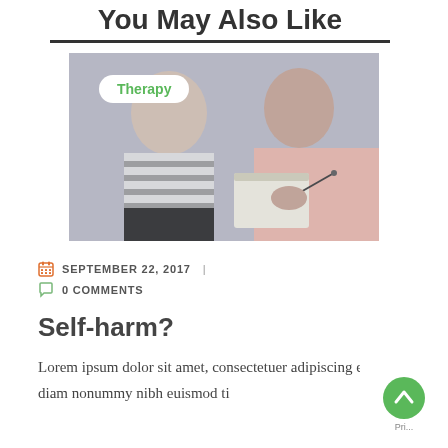You May Also Like
[Figure (photo): A therapy session photo showing two people, one in a striped shirt and one in a pink top writing on a clipboard. A 'Therapy' badge overlays the top-left of the image.]
SEPTEMBER 22, 2017  |  0 COMMENTS
Self-harm?
Lorem ipsum dolor sit amet, consectetuer adipiscing elit, sed diam nonummy nibh euismod ti